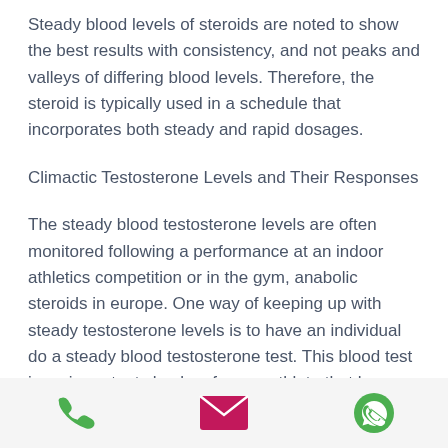Steady blood levels of steroids are noted to show the best results with consistency, and not peaks and valleys of differing blood levels. Therefore, the steroid is typically used in a schedule that incorporates both steady and rapid dosages.
Climactic Testosterone Levels and Their Responses
The steady blood testosterone levels are often monitored following a performance at an indoor athletics competition or in the gym, anabolic steroids in europe. One way of keeping up with steady testosterone levels is to have an individual do a steady blood testosterone test. This blood test is an important checkup for any athlete that has a steady testosterone level, or has any blood
[Figure (other): Bottom navigation bar with three icons: phone (green), email/envelope (pink/magenta), and WhatsApp (green)]